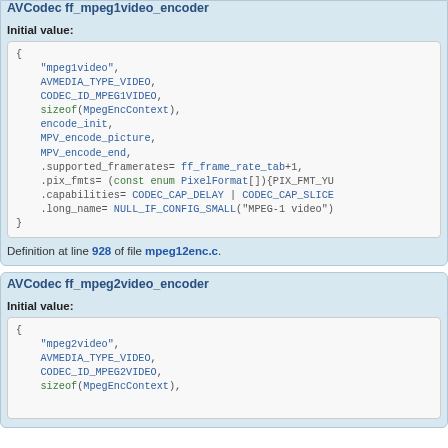AVCodec ff_mpeg1video_encoder
Initial value:
[Figure (other): Code block showing initial value struct for ff_mpeg1video_encoder with fields: mpeg1video, AVMEDIA_TYPE_VIDEO, CODEC_ID_MPEG1VIDEO, sizeof(MpegEncContext), encode_init, MPV_encode_picture, MPV_encode_end, .supported_framerates=ff_frame_rate_tab+1, .pix_fmts=(const enum PixelFormat[]){PIX_FMT_YU, .capabilities=CODEC_CAP_DELAY | CODEC_CAP_SLICE, .long_name=NULL_IF_CONFIG_SMALL("MPEG-1 video")]
Definition at line 928 of file mpeg12enc.c.
AVCodec ff_mpeg2video_encoder
Initial value:
[Figure (other): Code block showing initial value struct for ff_mpeg2video_encoder with fields: mpeg2video, AVMEDIA_TYPE_VIDEO, CODEC_ID_MPEG2VIDEO, sizeof(MpegEncContext)]